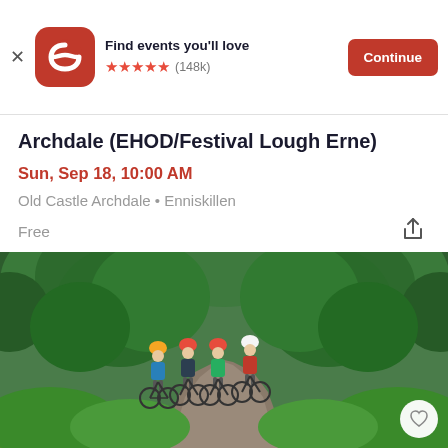Find events you'll love ★★★★★ (148k) Continue
Archdale (EHOD/Festival Lough Erne)
Sun, Sep 18, 10:00 AM
Old Castle Archdale • Enniskillen
Free
[Figure (photo): Four cyclists riding mountain bikes down a gravel trail through a green forested path with trees forming a canopy overhead.]